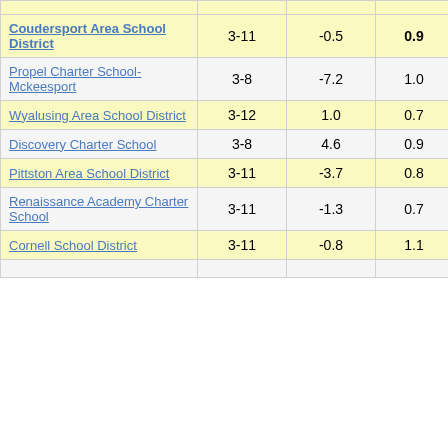| School | Grades | Col3 | Col4 | Score |
| --- | --- | --- | --- | --- |
| Coudersport Area School District | 3-11 | -0.5 | 0.9 | -0.53 |
| Propel Charter School-Mckeesport | 3-8 | -7.2 | 1.0 | -7.15 |
| Wyalusing Area School District | 3-12 | 1.0 | 0.7 | 1.58 |
| Discovery Charter School | 3-8 | 4.6 | 0.9 | 4.93 |
| Pittston Area School District | 3-11 | -3.7 | 0.8 | -4.75 |
| Renaissance Academy Charter School | 3-11 | -1.3 | 0.7 | -1.72 |
| Cornell School District | 3-11 | -0.8 | 1.1 | -0.69 |